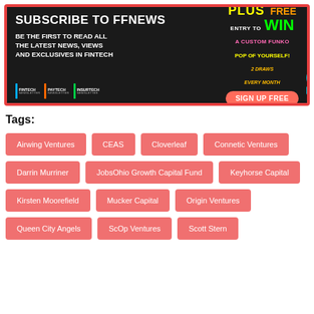[Figure (advertisement): FFNews subscription banner ad on dark background with colorful promotional text and Funko Pop contest offer, sign up free button, and newsletter logos]
Tags:
Airwing Ventures
CEAS
Cloverleaf
Connetic Ventures
Darrin Murriner
JobsOhio Growth Capital Fund
Keyhorse Capital
Kirsten Moorefield
Mucker Capital
Origin Ventures
Queen City Angels
ScOp Ventures
Scott Stern